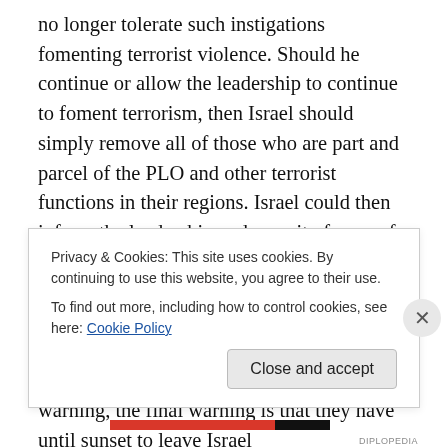no longer tolerate such instigations fomenting terrorist violence. Should he continue or allow the leadership to continue to foment terrorism, then Israel should simply remove all of those who are part and parcel of the PLO and other terrorist functions in their regions. Israel could then inform the leadership and security forces of the PA, should they persist in their calling for violence and the death of Israelis, they will no longer be welcomed within the borders of Israel which does include their regions. Then, should they ignore that last warning, the final warning is that they have until sunset to leave Israel
Privacy & Cookies: This site uses cookies. By continuing to use this website, you agree to their use. To find out more, including how to control cookies, see here: Cookie Policy
Close and accept